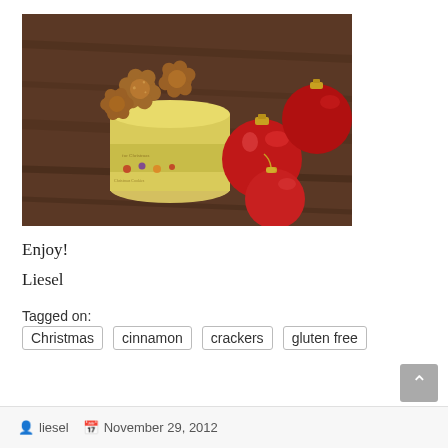[Figure (photo): A yellow tin canister filled with brown star/flower-shaped cinnamon crackers, surrounded by three shiny red Christmas ornament balls on a dark wooden surface.]
Enjoy!
Liesel
Tagged on:
Christmas
cinnamon
crackers
gluten free
liesel   November 29, 2012